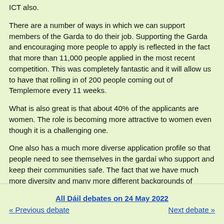ICT also.
There are a number of ways in which we can support members of the Garda to do their job. Supporting the Garda and encouraging more people to apply is reflected in the fact that more than 11,000 people applied in the most recent competition. This was completely fantastic and it will allow us to have that rolling in of 200 people coming out of Templemore every 11 weeks.
What is also great is that about 40% of the applicants are women. The role is becoming more attractive to women even though it is a challenging one.
One also has a much more diverse application profile so that people need to see themselves in the gardaí who support and keep their communities safe. The fact that we have much more diversity and many more different backgrounds of people who were not born in Ireland who are now applying, is very welcome. That visibility, in itself, encourages people, particularly younger people, to engage with the Garda when they see themselves in the gardaí who serve them.
All Dáil debates on 24 May 2022 | « Previous debate | Next debate »